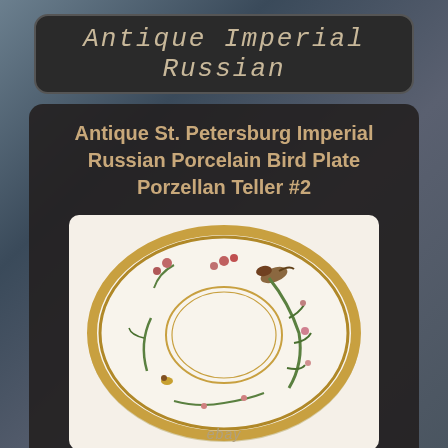Antique Imperial Russian
Antique St. Petersburg Imperial Russian Porcelain Bird Plate Porzellan Teller #2
[Figure (photo): A white porcelain plate with gold scalloped rim, decorated with painted birds and floral motifs in green, pink, and brown. The plate has a circular well in the center with gold rings. An eBay watermark is visible at the bottom.]